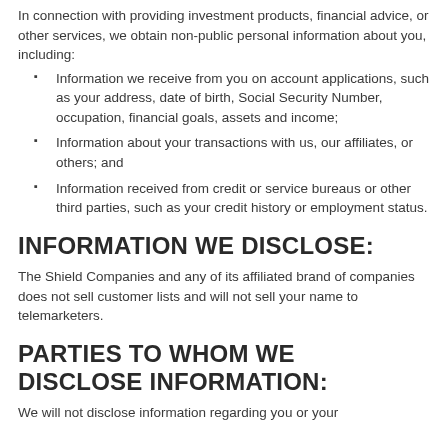In connection with providing investment products, financial advice, or other services, we obtain non-public personal information about you, including:
Information we receive from you on account applications, such as your address, date of birth, Social Security Number, occupation, financial goals, assets and income;
Information about your transactions with us, our affiliates, or others; and
Information received from credit or service bureaus or other third parties, such as your credit history or employment status.
INFORMATION WE DISCLOSE:
The Shield Companies and any of its affiliated brand of companies does not sell customer lists and will not sell your name to telemarketers.
PARTIES TO WHOM WE DISCLOSE INFORMATION:
We will not disclose information regarding you or your